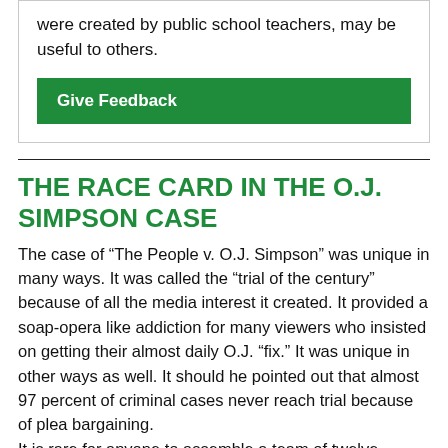were created by public school teachers, may be useful to others.
Give Feedback
THE RACE CARD IN THE O.J. SIMPSON CASE
The case of “The People v. O.J. Simpson” was unique in many ways. It was called the “trial of the century” because of all the media interest it created. It provided a soap-opera like addiction for many viewers who insisted on getting their almost daily O.J. “fix.” It was unique in other ways as well. It should he pointed out that almost 97 percent of criminal cases never reach trial because of plea bargaining.
It is rare for anyone to assemble a team of twelve lawyers to defend them; most people accused of a crime can’t even